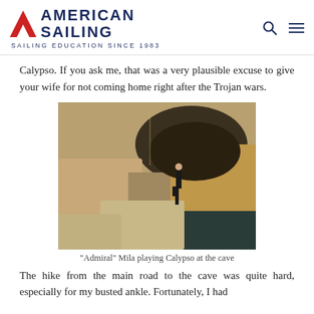AMERICAN SAILING — SAILING EDUCATION SINCE 1983
Calypso.  If you ask me, that was a very plausible excuse to give your wife for not coming home right after the Trojan wars.
[Figure (photo): A person in black clothing standing on a rocky ledge at the entrance of a coastal cave, with dark water below and sandy-orange rock walls surrounding.]
"Admiral" Mila playing Calypso at the cave
The hike from the main road to the cave was quite hard, especially for my busted ankle.  Fortunately, I had